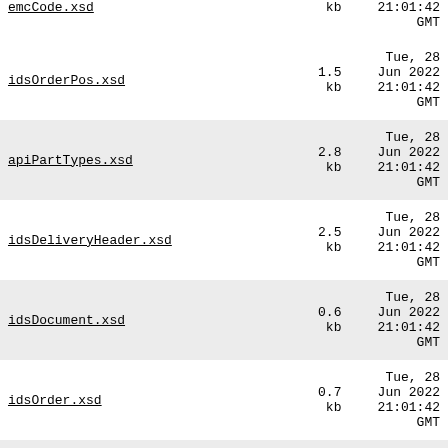| Name | Size | Date |
| --- | --- | --- |
| emcCode.xsd | kb | 21:01:42
GMT |
| idsOrderPos.xsd | 1.5
kb | Tue, 28
Jun 2022
21:01:42
GMT |
| apiPartTypes.xsd | 2.8
kb | Tue, 28
Jun 2022
21:01:42
GMT |
| idsDeliveryHeader.xsd | 2.5
kb | Tue, 28
Jun 2022
21:01:42
GMT |
| idsDocument.xsd | 0.6
kb | Tue, 28
Jun 2022
21:01:42
GMT |
| idsOrder.xsd | 0.7
kb | Tue, 28
Jun 2022
21:01:42
GMT |
| idsOrderHeader.xsd | 1.0
kb | Tue, 28
Jun 2022
21:01:42
GMT |